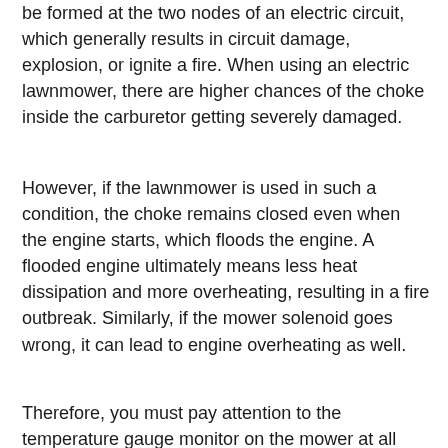be formed at the two nodes of an electric circuit, which generally results in circuit damage, explosion, or ignite a fire. When using an electric lawnmower, there are higher chances of the choke inside the carburetor getting severely damaged.
However, if the lawnmower is used in such a condition, the choke remains closed even when the engine starts, which floods the engine. A flooded engine ultimately means less heat dissipation and more overheating, resulting in a fire outbreak. Similarly, if the mower solenoid goes wrong, it can lead to engine overheating as well.
Therefore, you must pay attention to the temperature gauge monitor on the mower at all times to avoid fire.